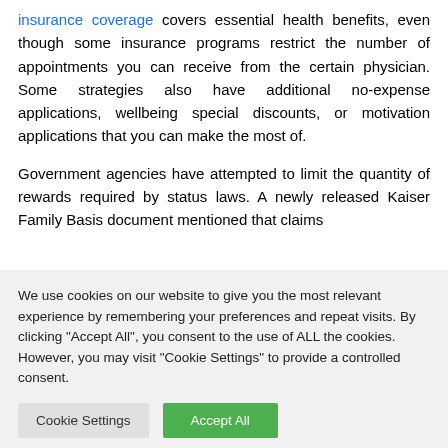insurance coverage covers essential health benefits, even though some insurance programs restrict the number of appointments you can receive from the certain physician. Some strategies also have additional no-expense applications, wellbeing special discounts, or motivation applications that you can make the most of.

Government agencies have attempted to limit the quantity of rewards required by status laws. A newly released Kaiser Family Basis document mentioned that claims
We use cookies on our website to give you the most relevant experience by remembering your preferences and repeat visits. By clicking "Accept All", you consent to the use of ALL the cookies. However, you may visit "Cookie Settings" to provide a controlled consent.